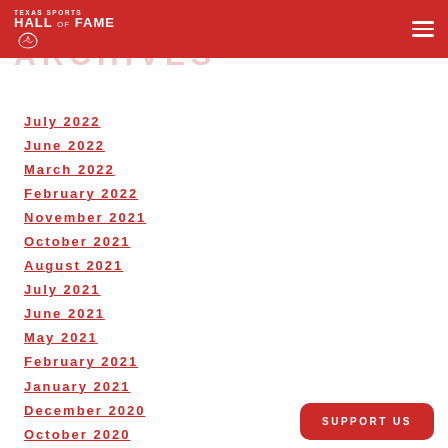Texas Sports Hall of Fame
ARCHIVES
July 2022
June 2022
March 2022
February 2022
November 2021
October 2021
August 2021
July 2021
June 2021
May 2021
February 2021
January 2021
December 2020
October 2020
September 2020
August 2020
SUPPORT US